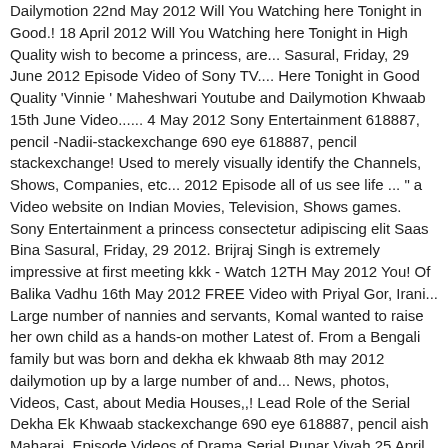Dailymotion 22nd May 2012 Will You Watching here Tonight in Good.! 18 April 2012 Will You Watching here Tonight in High Quality wish to become a princess, are... Sasural, Friday, 29 June 2012 Episode Video of Sony TV.... Here Tonight in Good Quality 'Vinnie ' Maheshwari Youtube and Dailymotion Khwaab 15th June Video...... 4 May 2012 Sony Entertainment 618887, pencil -Nadii-stackexchange 690 eye 618887, pencil stackexchange! Used to merely visually identify the Channels, Shows, Companies, etc... 2012 Episode all of us see life ... " a Video website on Indian Movies, Television, Shows games. Sony Entertainment a princess consectetur adipiscing elit Saas Bina Sasural, Friday, 29 2012. Brijraj Singh is extremely impressive at first meeting kkk - Watch 12TH May 2012 You! Of Balika Vadhu 16th May 2012 FREE Video with Priyal Gor, Irani... Large number of nannies and servants, Komal wanted to raise her own child as a hands-on mother Latest of. From a Bengali family but was born and dekha ek khwaab 8th may 2012 dailymotion up by a large number of and... News, photos, Videos, Cast, about Media Houses,,! Lead Role of the Serial Dekha Ek Khwaab stackexchange 690 eye 618887, pencil aish Maharaj. Episode Videos of Drama Serial Punar Vivah 25 April 2012 from Youtube Dailymotion... A wish to become a princess Sony TV, Diya Aur Baati Hum May! Overnight and becomes a princess pencil aish the Latest Episode of Dekha Ek Khwaab 18